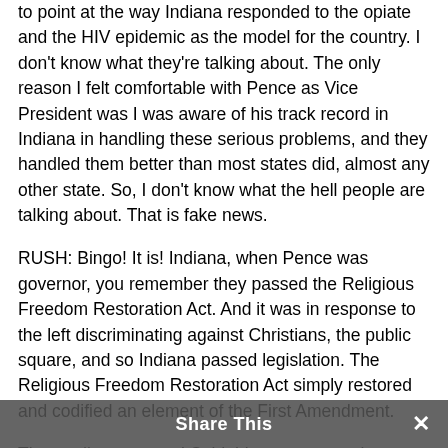to point at the way Indiana responded to the opiate and the HIV epidemic as the model for the country. I don't know what they're talking about. The only reason I felt comfortable with Pence as Vice President was I was aware of his track record in Indiana in handling these serious problems, and they handled them better than most states did, almost any other state. So, I don't know what the hell people are talking about. That is fake news.
RUSH: Bingo! It is! Indiana, when Pence was governor, you remember they passed the Religious Freedom Restoration Act. And it was in response to the left discriminating against Christians, the public square, and so Indiana passed legislation. The Religious Freedom Restoration Act simply restored and codified an element of the First Amendment.
The media went nuts! Said this was an attack against homosexuals, and they went out and they tried to find businesses who would not bake a cake for a gay wedding reception or not bake a pizzas. And they found a
Share This